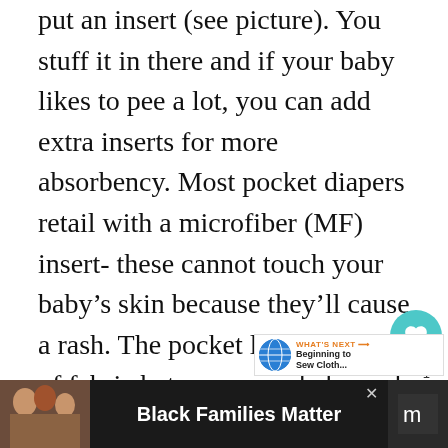put an insert (see picture). You stuff it in there and if your baby likes to pee a lot, you can add extra inserts for more absorbency. Most pocket diapers retail with a microfiber (MF) insert- these cannot touch your baby's skin because they'll cause a rash. The pocket leaves a layer of fabric between your baby and the insert- viola! No rash. The MF inserts aren't too bulky and they have good absorbency. You can just throw them into the washer without taking the insert out. The insert usually comes out during the wash, and th...
[Figure (other): UI overlay elements: teal heart button with count '1', share button, and 'What's Next' widget showing a globe icon and text 'Beginning to Sew Cloth...']
[Figure (other): Bottom advertisement banner with dark background showing 'Black Families Matter' text with a family photo on the left and a logo on the right]